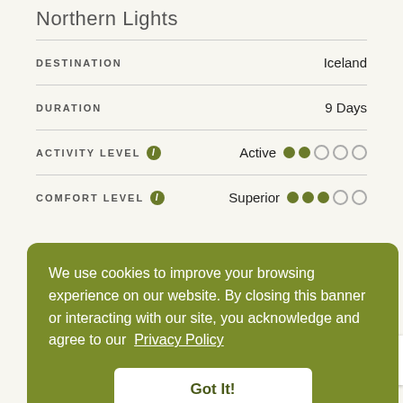Northern Lights
DESTINATION
Iceland
DURATION
9 Days
ACTIVITY LEVEL
Active ●●○○○
COMFORT LEVEL
Superior ●●●○○
We use cookies to improve your browsing experience on our website. By closing this banner or interacting with our site, you acknowledge and agree to our Privacy Policy
Got It!
Customize